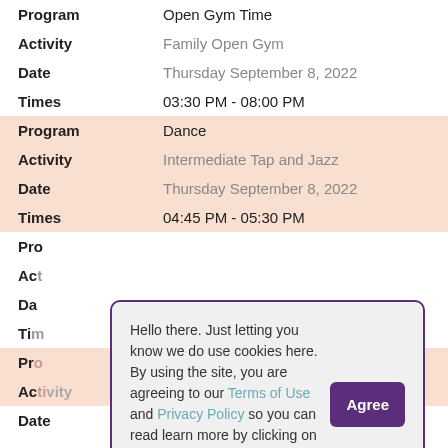Program: Open Gym Time
Activity: Family Open Gym
Date: Thursday September 8, 2022
Times: 03:30 PM - 08:00 PM
Program: Dance
Activity: Intermediate Tap and Jazz
Date: Thursday September 8, 2022
Times: 04:45 PM - 05:30 PM
Pro...
Act...
Da...
Ti...
Pro...
Ac... ...py
Date: Thursday September 8, 2022
Hello there. Just letting you know we do use cookies here. By using the site, you are agreeing to our Terms of Use and Privacy Policy so you can read learn more by clicking on them. That's all - back to the fun!